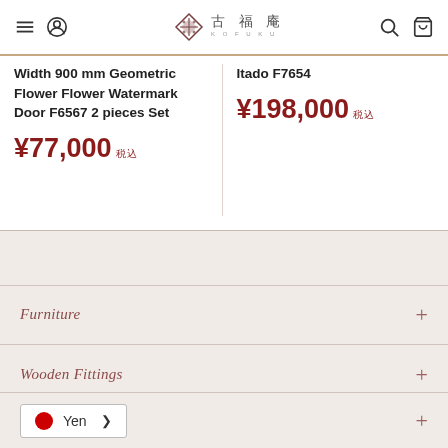古福庵 (Ko Fuku An) — navigation header with hamburger menu, user icon, logo, search, and cart icons
Width 900 mm Geometric Flower Flower Watermark Door F6567 2 pieces Set
¥77,000 税込
Itado F7654
¥198,000 税込
Furniture +
Wooden Fittings +
Yen ▶ +